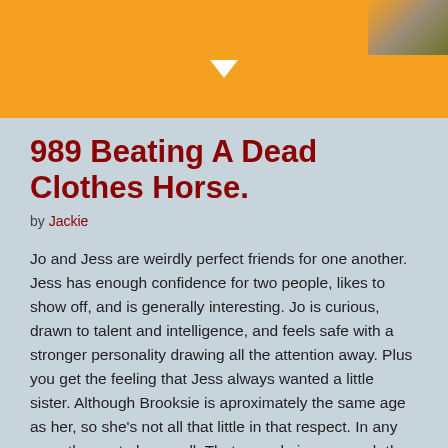[Figure (illustration): Orange header bar with a white downward-pointing triangle/arrow in the center and a decorative comic-style illustration in the top-right corner.]
989 Beating A Dead Clothes Horse.
by Jackie
Jo and Jess are weirdly perfect friends for one another. Jess has enough confidence for two people, likes to show off, and is generally interesting. Jo is curious, drawn to talent and intelligence, and feels safe with a stronger personality drawing all the attention away. Plus you get the feeling that Jess always wanted a little sister. Although Brooksie is aproximately the same age as her, so she's not all that little in that respect. In any even they get along well. That was obvious enough the first time they met.
I've never been much for used clothes. Firstly they almost never fit me to start with, and secondly they always smell